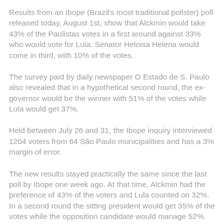Results from an Ibope (Brazil's most traditional pollster) poll released today, August 1st, show that Alckmin would take 43% of the Paulistas votes in a first around against 33% who would vote for Lula. Senator Heloisa Helena would come in third, with 10% of the votes.
The survey paid by daily newspaper O Estado de S. Paulo also revealed that in a hypothetical second round, the ex-governor would be the winner with 51% of the votes while Lula would get 37%.
Held between July 26 and 31, the Ibope inquiry interviewed 1204 voters from 64 São Paulo municipalities and has a 3% margin of error.
The new results stayed practically the same since the last poll by Ibope one week ago. At that time, Alckmin had the preference of 43% of the voters and Lula counted on 32%. In a second round the sitting president would get 35% of the votes while the opposition candidate would manage 52%.
When asked in which candidate they would never vote for,